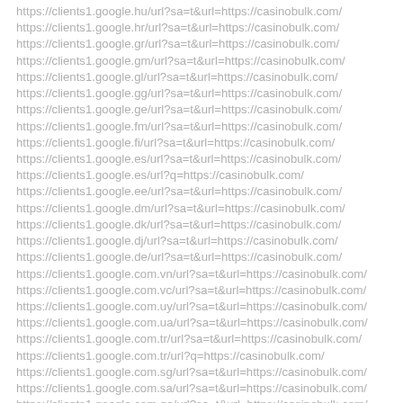https://clients1.google.hu/url?sa=t&url=https://casinobulk.com/
https://clients1.google.hr/url?sa=t&url=https://casinobulk.com/
https://clients1.google.gr/url?sa=t&url=https://casinobulk.com/
https://clients1.google.gm/url?sa=t&url=https://casinobulk.com/
https://clients1.google.gl/url?sa=t&url=https://casinobulk.com/
https://clients1.google.gg/url?sa=t&url=https://casinobulk.com/
https://clients1.google.ge/url?sa=t&url=https://casinobulk.com/
https://clients1.google.fm/url?sa=t&url=https://casinobulk.com/
https://clients1.google.fi/url?sa=t&url=https://casinobulk.com/
https://clients1.google.es/url?sa=t&url=https://casinobulk.com/
https://clients1.google.es/url?q=https://casinobulk.com/
https://clients1.google.ee/url?sa=t&url=https://casinobulk.com/
https://clients1.google.dm/url?sa=t&url=https://casinobulk.com/
https://clients1.google.dk/url?sa=t&url=https://casinobulk.com/
https://clients1.google.dj/url?sa=t&url=https://casinobulk.com/
https://clients1.google.de/url?sa=t&url=https://casinobulk.com/
https://clients1.google.com.vn/url?sa=t&url=https://casinobulk.com/
https://clients1.google.com.vc/url?sa=t&url=https://casinobulk.com/
https://clients1.google.com.uy/url?sa=t&url=https://casinobulk.com/
https://clients1.google.com.ua/url?sa=t&url=https://casinobulk.com/
https://clients1.google.com.tr/url?sa=t&url=https://casinobulk.com/
https://clients1.google.com.tr/url?q=https://casinobulk.com/
https://clients1.google.com.sg/url?sa=t&url=https://casinobulk.com/
https://clients1.google.com.sa/url?sa=t&url=https://casinobulk.com/
https://clients1.google.com.qa/url?sa=t&url=https://casinobulk.com/